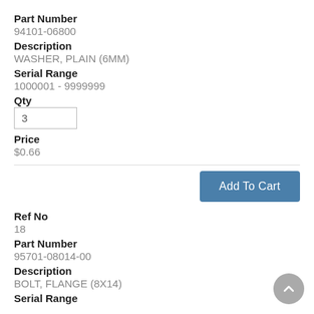Part Number
94101-06800
Description
WASHER, PLAIN (6MM)
Serial Range
1000001 - 9999999
Qty
3
Price
$0.66
Ref No
18
Part Number
95701-08014-00
Description
BOLT, FLANGE (8X14)
Serial Range